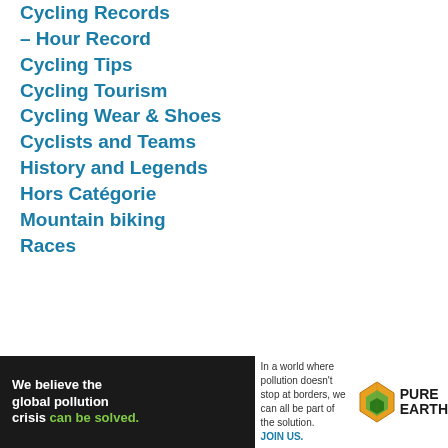Cycling Records
– Hour Record
Cycling Tips
Cycling Tourism
Cycling Wear & Shoes
Cyclists and Teams
History and Legends
Hors Catégorie
Mountain biking
Races
[Figure (infographic): Pure Earth advertisement banner: black left panel with text 'We believe the global pollution crisis can be solved.' (can be solved in green), right side with text about pollution not stopping at borders and 'JOIN US.' in blue, with Pure Earth logo (diamond shape with leaf) and PURE EARTH wordmark.]